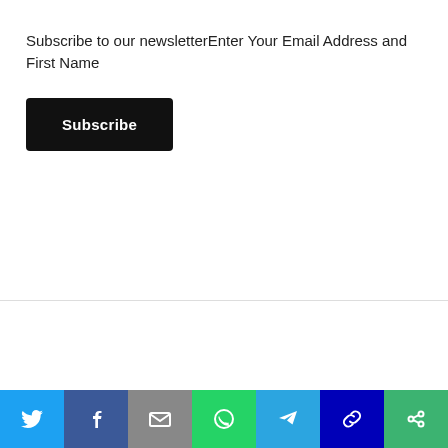Subscribe to our newsletterEnter Your Email Address and First Name
Subscribe
[Figure (photo): Blurred photo of papers/documents with light blue tones]
[Figure (infographic): Social sharing bar with icons: Twitter, Facebook, Email, WhatsApp, Telegram, Link, Other]